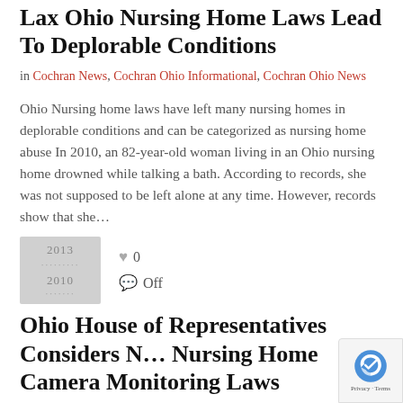Lax Ohio Nursing Home Laws Lead To Deplorable Conditions
in Cochran News, Cochran Ohio Informational, Cochran Ohio News
Ohio Nursing home laws have left many nursing homes in deplorable conditions and can be categorized as nursing home abuse In 2010, an 82-year-old woman living in an Ohio nursing home drowned while talking a bath. According to records, she was not supposed to be left alone at any time. However, records show that she…
[Figure (illustration): Thumbnail image placeholder showing dotted text lines, gray background]
0
Off
Ohio House of Representatives Considers New Nursing Home Camera Monitoring Laws
in Cochran Ohio Informational, Cochran Ohio News